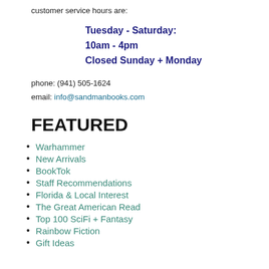customer service hours are:
Tuesday - Saturday:
10am - 4pm
Closed Sunday + Monday
phone: (941) 505-1624
email: info@sandmanbooks.com
FEATURED
Warhammer
New Arrivals
BookTok
Staff Recommendations
Florida & Local Interest
The Great American Read
Top 100 SciFi + Fantasy
Rainbow Fiction
Gift Ideas